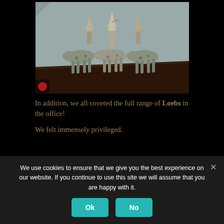[Figure (photo): Museum display case showing a group of ancient ceramic figurines — riders on animals, with tall conical hats, arranged on a dark wooden surface against a light gray background.]
In addition, we all coveted the full range of Loebs in the office!
We felt immensely privileged.
We use cookies to ensure that we give you the best experience on our website. If you continue to use this site we will assume that you are happy with it.